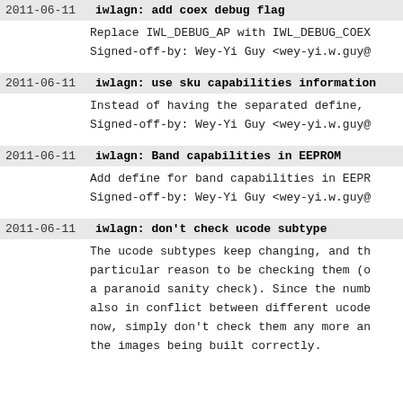2011-06-11 iwlagn: add coex debug flag
Replace IWL_DEBUG_AP with IWL_DEBUG_COEX
Signed-off-by: Wey-Yi Guy <wey-yi.w.guy@
2011-06-11 iwlagn: use sku capabilities information
Instead of having the separated define,
Signed-off-by: Wey-Yi Guy <wey-yi.w.guy@
2011-06-11 iwlagn: Band capabilities in EEPROM
Add define for band capabilities in EEPR
Signed-off-by: Wey-Yi Guy <wey-yi.w.guy@
2011-06-11 iwlagn: don't check ucode subtype
The ucode subtypes keep changing, and th
particular reason to be checking them (o
a paranoid sanity check). Since the numb
also in conflict between different ucode
now, simply don't check them any more an
the images being built correctly.